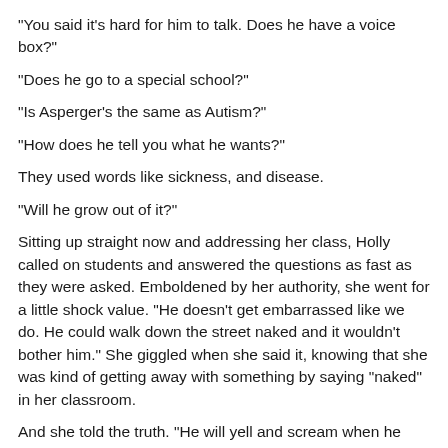“You said it’s hard for him to talk. Does he have a voice box?”
“Does he go to a special school?”
“Is Asperger’s the same as Autism?”
“How does he tell you what he wants?”
They used words like sickness, and disease.
“Will he grow out of it?”
Sitting up straight now and addressing her class, Holly called on students and answered the questions as fast as they were asked. Emboldened by her authority, she went for a little shock value. “He doesn’t get embarrassed like we do. He could walk down the street naked and it wouldn’t bother him.” She giggled when she said it, knowing that she was kind of getting away with something by saying “naked” in her classroom.
And she told the truth. “He will yell and scream when he wants something. It doesn’t matter where he is or who is there. But he’s not a brat, he is sweet. His brain just works different.”
“Noooo,” they protested when Miss Howard announced it was time for recess. Heading towards the classroom door they blurted out the tidbits they still wanted to hear more about as they passed me